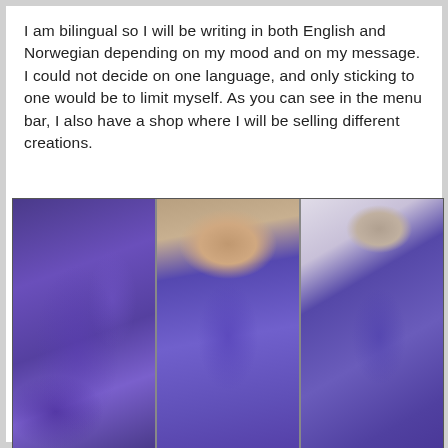I am bilingual so I will be writing in both English and Norwegian depending on my mood and on my message. I could not decide on one language, and only sticking to one would be to limit myself. As you can see in the menu bar, I also have a shop where I will be selling different creations.
[Figure (photo): Three-panel photo strip showing a woman wearing a purple crushed velvet turtleneck dress. Left panel: front view of the full dress with a decorative button/pendant. Center panel: close-up of the woman's face looking up and the upper chest of the dress with pendant. Right panel: back view of the woman showing the back of the dress and her dark hair in a ponytail.]